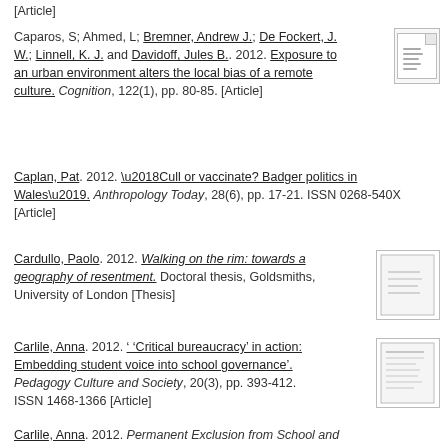[Article]
Caparos, S; Ahmed, L; Bremner, Andrew J.; De Fockert, J. W.; Linnell, K. J. and Davidoff, Jules B.. 2012. Exposure to an urban environment alters the local bias of a remote culture. Cognition, 122(1), pp. 80-85. [Article]
Caplan, Pat. 2012. ‘Cull or vaccinate? Badger politics in Wales’. Anthropology Today, 28(6), pp. 17-21. ISSN 0268-540X [Article]
Cardullo, Paolo. 2012. Walking on the rim: towards a geography of resentment. Doctoral thesis, Goldsmiths, University of London [Thesis]
Carlile, Anna. 2012. ‘ ‘Critical bureaucracy’ in action: Embedding student voice into school governance’. Pedagogy Culture and Society, 20(3), pp. 393-412. ISSN 1468-1366 [Article]
Carlile, Anna. 2012. Permanent Exclusion from School and